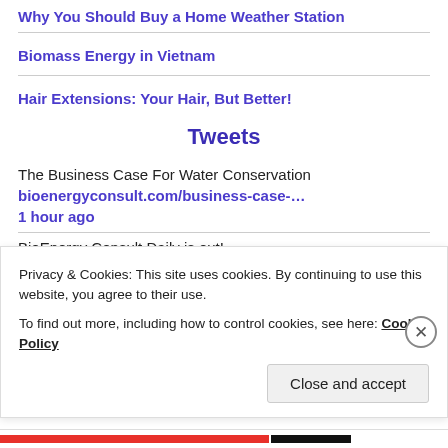Why You Should Buy a Home Weather Station
Biomass Energy in Vietnam
Hair Extensions: Your Hair, But Better!
Tweets
The Business Case For Water Conservation
bioenergyconsult.com/business-case-…
1 hour ago
BioEnergy Consult Daily is out!
Privacy & Cookies: This site uses cookies. By continuing to use this website, you agree to their use.
To find out more, including how to control cookies, see here: Cookie Policy
Close and accept